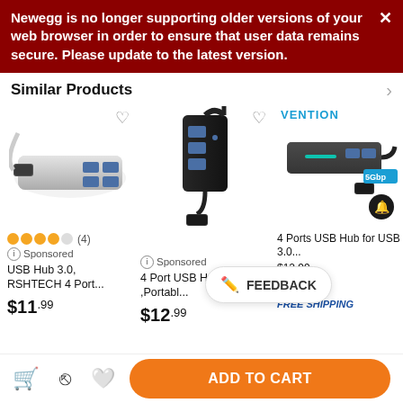Newegg is no longer supporting older versions of your web browser in order to ensure that user data remains secure. Please update to the latest version.
Similar Products
[Figure (photo): USB Hub 3.0 silver aluminum 4-port device with USB cable]
⊙Sponsored
USB Hub 3.0, RSHTECH 4 Port...
$11.99
[Figure (photo): 4 Port black USB Hub Adapter with cable]
⊙Sponsored
4 Port USB Hub Adapter ,Portabl...
$12.99
[Figure (photo): Vention branded 4 Ports USB Hub 3.0 device in dark gray with cable]
4 Ports USB Hub for USB 3.0 Hub
$13.99 (was $12.99)
FREE SHIPPING
FEEDBACK